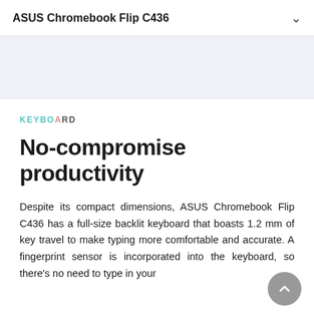ASUS Chromebook Flip C436
[Figure (other): Light blue/gray banner image area]
KEYBOARD
No-compromise productivity
Despite its compact dimensions, ASUS Chromebook Flip C436 has a full-size backlit keyboard that boasts 1.2 mm of key travel to make typing more comfortable and accurate. A fingerprint sensor is incorporated into the keyboard, so there's no need to type in your